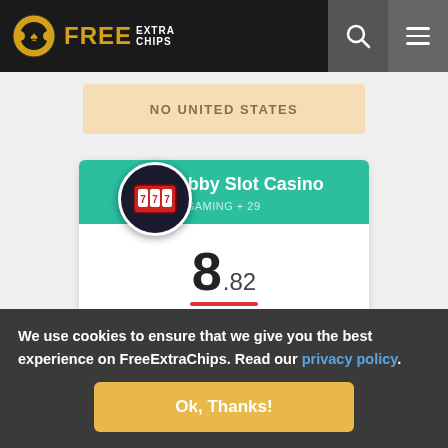FREE EXTRA CHIPS
NO UNITED STATES
Webby Slot Casino
1X2 GAMING + 29
8.82
Frank Score
69th  3  3K
We use cookies to ensure that we give you the best experience on FreeExtraChips. Read our privacy policy.
Ok, Thanks!